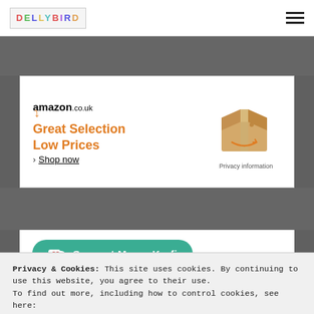DELLYBIRD
[Figure (infographic): Amazon.co.uk advertisement with logo, tagline 'Great Selection Low Prices', Shop now link, and a cardboard Amazon delivery box illustration with Privacy information link.]
[Figure (infographic): Ko-fi support button: green rounded button with cup icon and text 'Support Me on Ko-fi']
Privacy & Cookies: This site uses cookies. By continuing to use this website, you agree to their use. To find out more, including how to control cookies, see here:
Close and accept